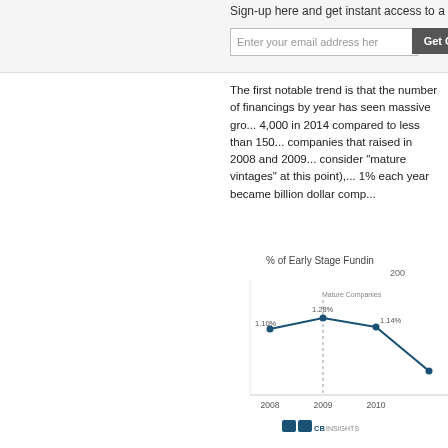Sign-up here and get instant access to a
Enter your email address here
Get Go
The first notable trend is that the number of financings by year has seen massive gro... 4,000 in 2014 compared to less than 150... companies that raised in 2008 and 2009... consider "mature vintages" at this point),... 1% each year became billion dollar comp...
[Figure (line-chart): % of Early Stage Funding 200]